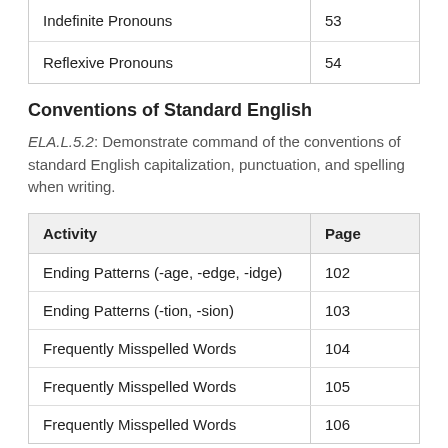| Activity | Page |
| --- | --- |
| Indefinite Pronouns | 53 |
| Reflexive Pronouns | 54 |
Conventions of Standard English
ELA.L.5.2: Demonstrate command of the conventions of standard English capitalization, punctuation, and spelling when writing.
| Activity | Page |
| --- | --- |
| Ending Patterns (-age, -edge, -idge) | 102 |
| Ending Patterns (-tion, -sion) | 103 |
| Frequently Misspelled Words | 104 |
| Frequently Misspelled Words | 105 |
| Frequently Misspelled Words | 106 |